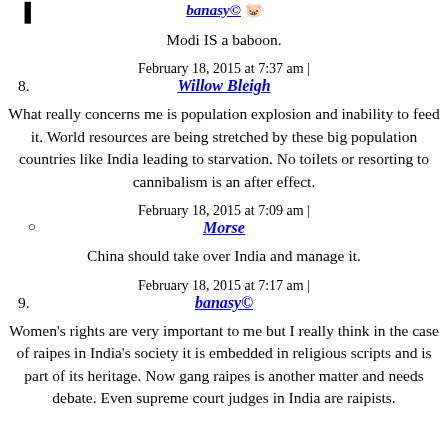banasy© [pig emoji]
Modi IS a baboon.
February 18, 2015 at 7:37 am |
8. Willow Bleigh
What really concerns me is population explosion and inability to feed it. World resources are being stretched by these big population countries like India leading to starvation. No toilets or resorting to cannibalism is an after effect.
February 18, 2015 at 7:09 am |
° Morse
China should take over India and manage it.
February 18, 2015 at 7:17 am |
9. banasy©
Women's rights are very important to me but I really think in the case of raipes in India's society it is embedded in religious scripts and is part of its heritage. Now gang raipes is another matter and needs debate. Even supreme court judges in India are raipists.